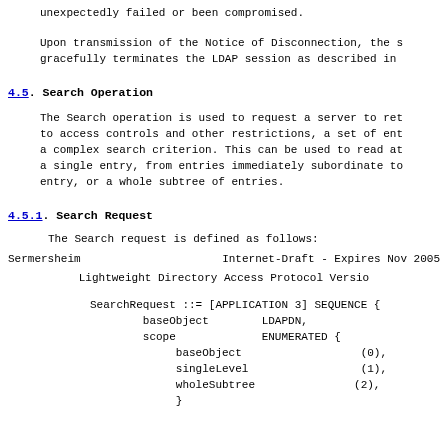unexpectedly failed or been compromised.
Upon transmission of the Notice of Disconnection, the s gracefully terminates the LDAP session as described in
4.5. Search Operation
The Search operation is used to request a server to ret to access controls and other restrictions, a set of ent a complex search criterion. This can be used to read at a single entry, from entries immediately subordinate to entry, or a whole subtree of entries.
4.5.1. Search Request
The Search request is defined as follows:
Sermersheim        Internet-Draft - Expires Nov 2005
Lightweight Directory Access Protocol Versio
SearchRequest ::= [APPLICATION 3] SEQUENCE {
        baseObject        LDAPDN,
        scope             ENUMERATED {
             baseObject                  (0),
             singleLevel                 (1),
             wholeSubtree               (2),
             }